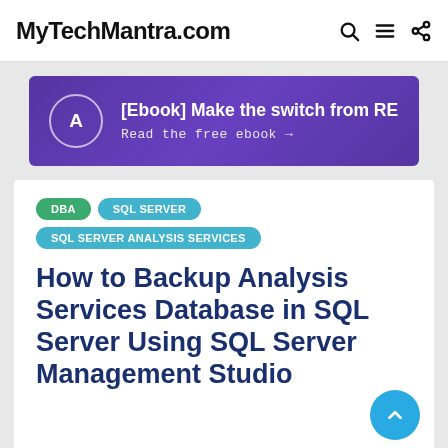MyTechMantra.com
[Figure (infographic): Purple gradient advertisement banner with circular 'A' logo icon, text '[Ebook] Make the switch from RE' and 'Read the free ebook →']
DBA  SQL SERVER  SQL SERVER ANALYSIS SERVICES
How to Backup Analysis Services Database in SQL Server Using SQL Server Management Studio